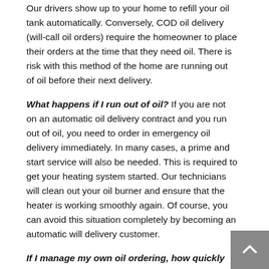Our drivers show up to your home to refill your oil tank automatically. Conversely, COD oil delivery (will-call oil orders) require the homeowner to place their orders at the time that they need oil. There is risk with this method of the home are running out of oil before their next delivery.
What happens if I run out of oil? If you are not on an automatic oil delivery contract and you run out of oil, you need to order in emergency oil delivery immediately. In many cases, a prime and start service will also be needed. This is required to get your heating system started. Our technicians will clean out your oil burner and ensure that the heater is working smoothly again. Of course, you can avoid this situation completely by becoming an automatic will delivery customer.
If I manage my own oil ordering, how quickly can I receive a delivery after ordering? Most days, if you call before 9 am. Although if there are weather situations or we are experiencing extreme cold, best to plan ahead. Check your tanks regularly, when your tank is approaching ¼ of a tank that is when you should place your order. If we are